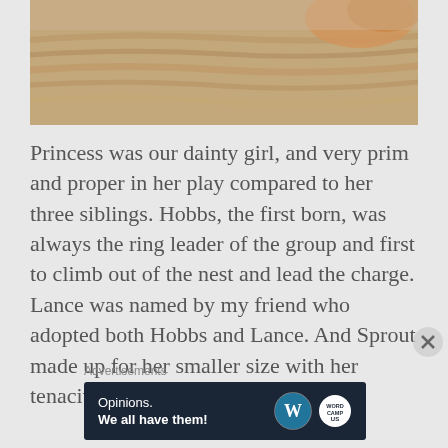[Figure (photo): Partial photo of cats on a carpeted cat tree, showing fur and beige carpet texture. A tan/orange cat is partially visible at the top right.]
Princess was our dainty girl, and very prim and proper in her play compared to her three siblings. Hobbs, the first born, was always the ring leader of the group and first to climb out of the nest and lead the charge. Lance was named by my friend who adopted both Hobbs and Lance. And Sprout made up for her smaller size with her tenacity of spirit.
Advertisements
[Figure (infographic): Advertisement banner for WordPress.com. Dark navy background with white text reading 'Opinions. We all have them!' and WordPress logo (W in a circle) and a secondary logo on the right.]